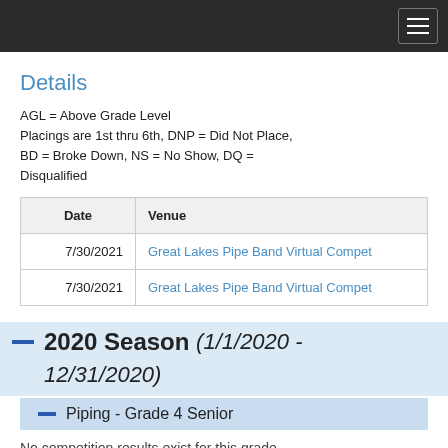Navigation bar with hamburger menu
Details
AGL = Above Grade Level
Placings are 1st thru 6th, DNP = Did Not Place, BD = Broke Down, NS = No Show, DQ = Disqualified
| Date | Venue |
| --- | --- |
| 7/30/2021 | Great Lakes Pipe Band Virtual Compet |
| 7/30/2021 | Great Lakes Pipe Band Virtual Compet |
2020 Season (1/1/2020 - 12/31/2020)
Piping - Grade 4 Senior
No competition results exist for this grade